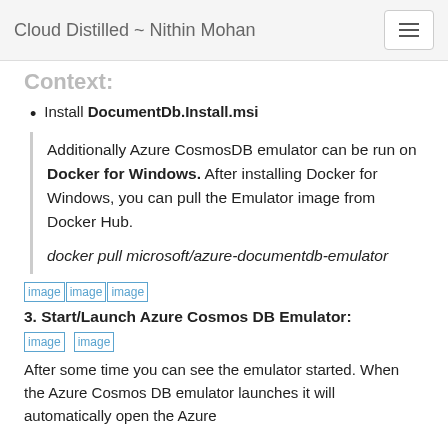Cloud Distilled ~ Nithin Mohan
Context:
Install DocumentDb.Install.msi
Additionally Azure CosmosDB emulator can be run on Docker for Windows. After installing Docker for Windows, you can pull the Emulator image from Docker Hub.

docker pull microsoft/azure-documentdb-emulator
[Figure (screenshot): Three image placeholders in a row]
3. Start/Launch Azure Cosmos DB Emulator:
[Figure (screenshot): Two image placeholders in a row]
After some time you can see the emulator started. When the Azure Cosmos DB emulator launches it will automatically open the Azure